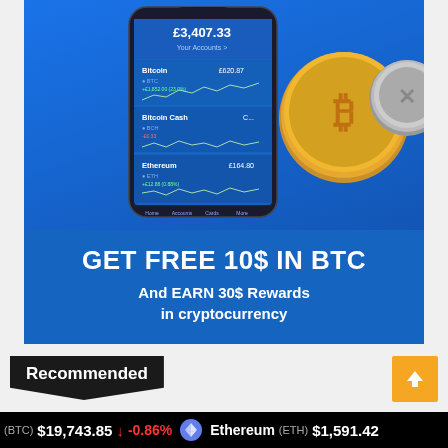[Figure (illustration): Cryptocurrency wallet app advertisement banner on blue background, showing a smartphone with a crypto portfolio app displaying Bitcoin (£620.87), Bitcoin Cash, and Ethereum (£164.80) with price charts, alongside gold and silver cryptocurrency coins. Text reads 'GET FREE 10$ IN BTC' and 'And EARN 30$ Rewards in cryptocurrency']
Recommended
(BTC) $19,743.85 ↓ -0.86%   Ethereum (ETH) $1,591.42